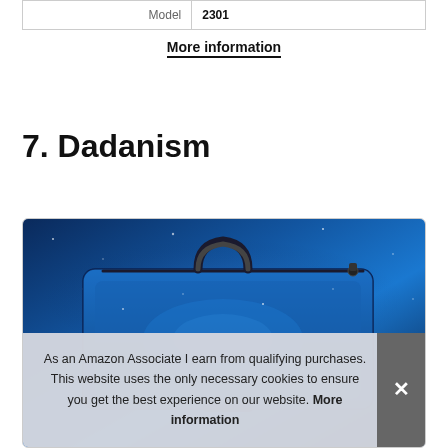|  |  |
| --- | --- |
| Model | 2301 |
More information
7. Dadanism
[Figure (photo): A blue galaxy-themed laptop sleeve/bag with a handle and zipper, displayed against a deep blue cosmic background.]
As an Amazon Associate I earn from qualifying purchases. This website uses the only necessary cookies to ensure you get the best experience on our website. More information